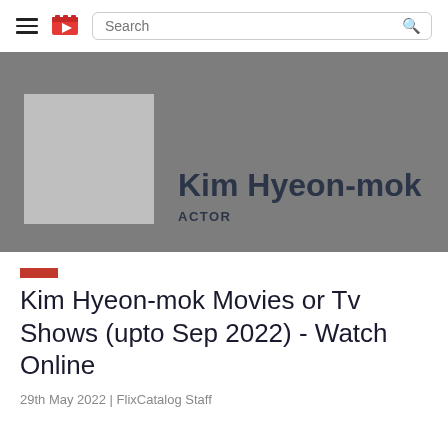Navigation bar with hamburger menu, logo, and search bar
[Figure (other): Actor profile banner with grey background, a light grey placeholder photo, name 'Kim Hyeon-mok' and role 'ACTOR']
Kim Hyeon-mok Movies or Tv Shows (upto Sep 2022) - Watch Online
29th May 2022 | FlixCatalog Staff